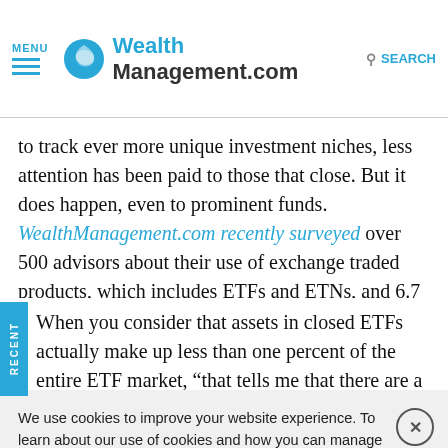MENU | WealthManagement.com | SEARCH
to track ever more unique investment niches, less attention has been paid to those that close. But it does happen, even to prominent funds. WealthManagement.com recently surveyed over 500 advisors about their use of exchange traded products, which includes ETFs and ETNs, and 6.7 percent of them said they've had an ETP in their client portfolios shut down.
When you consider that assets in closed ETFs actually make up less than one percent of the entire ETF market, "that tells me that there are a lot of advisors buying the wrong funds," said
We use cookies to improve your website experience. To learn about our use of cookies and how you can manage your cookie settings, please see our Cookie Policy. By continuing to use the website, you consent to our use of cookies.